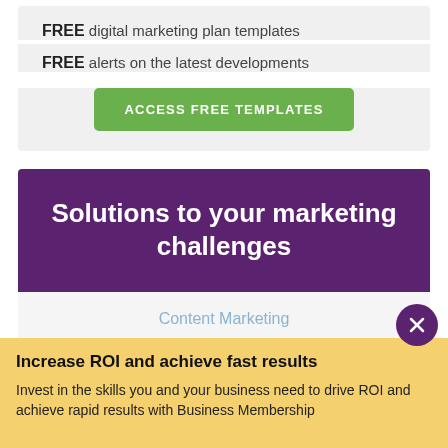FREE digital marketing plan templates
FREE alerts on the latest developments
ACCESS FREE TEMPLATES
Solutions to your marketing challenges
Content Marketing
Digital Marketing Strategy and Planning
Increase ROI and achieve fast results
Invest in the skills you and your business need to drive ROI and achieve rapid results with Business Membership